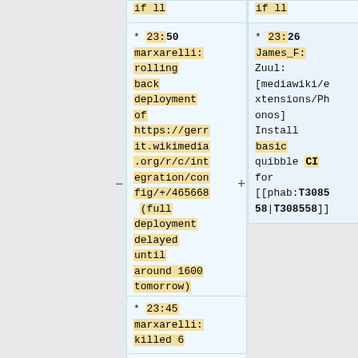if ll
if ll
* 23:50 marxarelli: rolling back deployment of https://gerrit.wikimedia.org/r/c/integration/config/+/465668 (full deployment delayed until around 1600 tomorrow)
* 23:26 James_F: Zuul: [mediawiki/extensions/Phonos] Install basic quibble CI for [[phab:T308558|T308558]]
* 23:45 marxarelli: killed 6